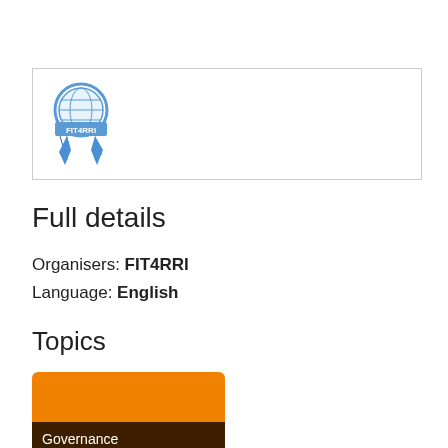[Figure (logo): FIT4RRI badge/logo — a blue ribbon award icon with 'FIT4RRI' text on the ribbon, inside a bordered rectangle]
Full details
Organisers: FIT4RRI
Language: English
Topics
[Figure (infographic): Orange and dark brown topic card labeled 'RRI']
[Figure (infographic): Orange and dark brown topic card labeled 'Governance']